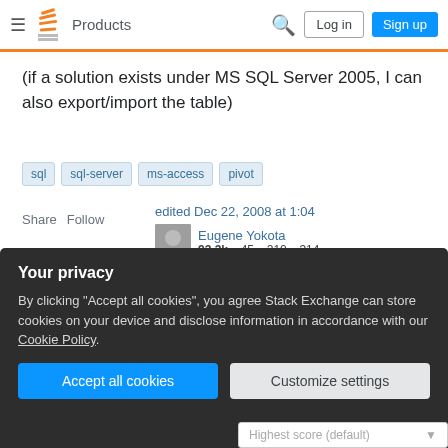Stack Overflow — Products | Log in | Sign up
(if a solution exists under MS SQL Server 2005, I can also export/import the table)
sql
sql-server
ms-access
pivot
Share   Follow
edited Dec 22, 2008 at 1:04
Eugene Yokota
93.3k ● 45 ● 210 ● 314
asked Dec 2, 2008 at 16:24
Joannes Vermorel
Your privacy
By clicking "Accept all cookies", you agree Stack Exchange can store cookies on your device and disclose information in accordance with our Cookie Policy.
Accept all cookies   Customize settings
Highest score (default)